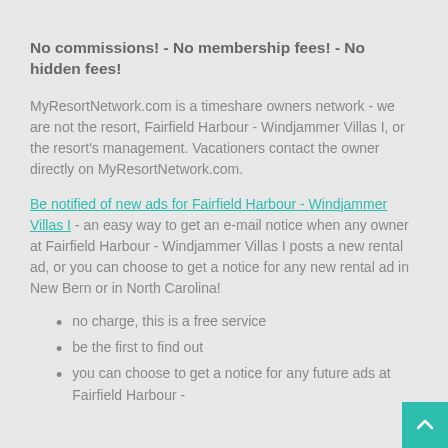No commissions! - No membership fees! - No hidden fees!
MyResortNetwork.com is a timeshare owners network - we are not the resort, Fairfield Harbour - Windjammer Villas I, or the resort's management. Vacationers contact the owner directly on MyResortNetwork.com.
Be notified of new ads for Fairfield Harbour - Windjammer Villas I - an easy way to get an e-mail notice when any owner at Fairfield Harbour - Windjammer Villas I posts a new rental ad, or you can choose to get a notice for any new rental ad in New Bern or in North Carolina!
no charge, this is a free service
be the first to find out
you can choose to get a notice for any future ads at Fairfield Harbour -